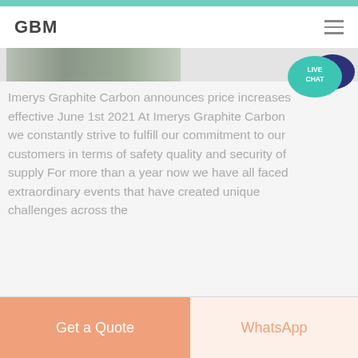GBM
[Figure (photo): Partial industrial facility image strip at top of content area]
[Figure (illustration): Live Chat bubble icon in teal and dark blue, top right corner]
Imerys Graphite Carbon announces price increases effective June 1st 2021 At Imerys Graphite Carbon we constantly strive to fulfill our commitment to our customers in terms of safety quality and security of supply For more than a year now we have all faced extraordinary events that have created unique challenges across the
Get Price
Get a Quote
WhatsApp